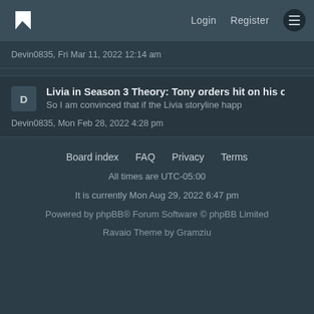Logo | Login  Register  Menu
Devin0835, Fri Mar 11, 2022 12:14 am
Livia in Season 3 Theory: Tony orders hit on his o
So I am convinced that if the Livia storyline happ
Devin0835, Mon Feb 28, 2022 4:28 pm
Board index   FAQ   Privacy   Terms
All times are UTC-05:00
It is currently Mon Aug 29, 2022 6:47 pm
Powered by phpBB® Forum Software © phpBB Limited
Ravaio Theme by Gramziu